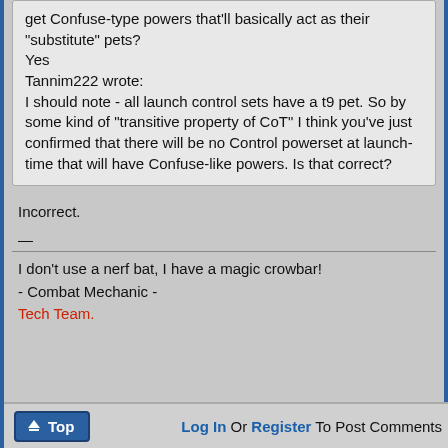get Confuse-type powers that'll basically act as their "substitute" pets?
Yes
Tannim222 wrote:
I should note - all launch control sets have a t9 pet. So by some kind of "transitive property of CoT" I think you've just confirmed that there will be no Control powerset at launch-time that will have Confuse-like powers. Is that correct?
Incorrect.
—
I don't use a nerf bat, I have a magic crowbar!
- Combat Mechanic -
Tech Team.
Top | Log In Or Register To Post Comments